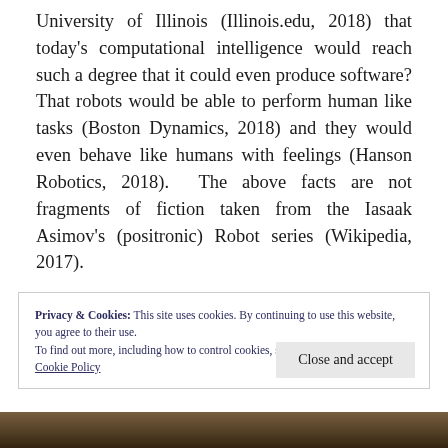University of Illinois (Illinois.edu, 2018) that today's computational intelligence would reach such a degree that it could even produce software? That robots would be able to perform human like tasks (Boston Dynamics, 2018) and they would even behave like humans with feelings (Hanson Robotics, 2018). The above facts are not fragments of fiction taken from the Iasaak Asimov's (positronic) Robot series (Wikipedia, 2017).
Privacy & Cookies: This site uses cookies. By continuing to use this website, you agree to their use.
To find out more, including how to control cookies, see here:
Cookie Policy
[Figure (photo): A strip of a photo at the bottom of the page showing what appears to be outdoor scenery or crowd]